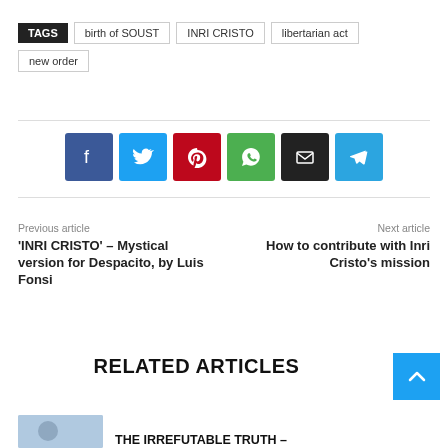TAGS  birth of SOUST  INRI CRISTO  libertarian act  new order
[Figure (infographic): Row of 6 social share buttons: Facebook (dark blue), Twitter (light blue), Pinterest (red), WhatsApp (green), Email (black), Telegram (sky blue), each with corresponding icon]
Previous article
'INRI CRISTO' – Mystical version for Despacito, by Luis Fonsi
Next article
How to contribute with Inri Cristo's mission
RELATED ARTICLES
THE IRREFUTABLE TRUTH –